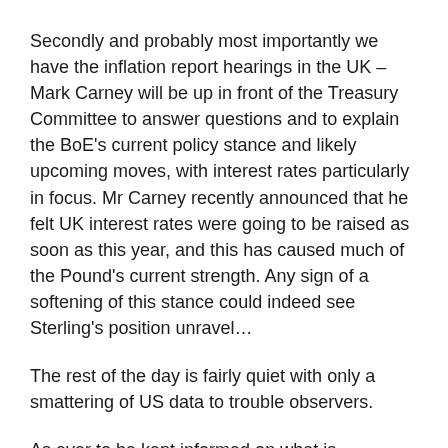Secondly and probably most importantly we have the inflation report hearings in the UK – Mark Carney will be up in front of the Treasury Committee to answer questions and to explain the BoE's current policy stance and likely upcoming moves, with interest rates particularly in focus. Mr Carney recently announced that he felt UK interest rates were going to be raised as soon as this year, and this has caused much of the Pound's current strength. Any sign of a softening of this stance could indeed see Sterling's position unravel…
The rest of the day is fairly quiet with only a smattering of US data to trouble observers.
As ever to be kept informed on what is happening and what the likely impact is going to be, and therefore how this will affect your upcoming currency requirement.